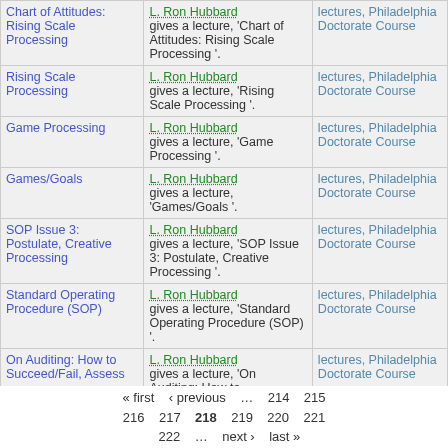| Title | Description | Source |
| --- | --- | --- |
| Chart of Attitudes: Rising Scale Processing | L. Ron Hubbard gives a lecture, 'Chart of Attitudes: Rising Scale Processing '. | lectures, Philadelphia Doctorate Course |
| Rising Scale Processing | L. Ron Hubbard gives a lecture, 'Rising Scale Processing '. | lectures, Philadelphia Doctorate Course |
| Game Processing | L. Ron Hubbard gives a lecture, 'Game Processing '. | lectures, Philadelphia Doctorate Course |
| Games/Goals | L. Ron Hubbard gives a lecture, 'Games/Goals '. | lectures, Philadelphia Doctorate Course |
| SOP Issue 3: Postulate, Creative Processing | L. Ron Hubbard gives a lecture, 'SOP Issue 3: Postulate, Creative Processing '. | lectures, Philadelphia Doctorate Course |
| Standard Operating Procedure (SOP) | L. Ron Hubbard gives a lecture, 'Standard Operating Procedure (SOP) '. | lectures, Philadelphia Doctorate Course |
| On Auditing: How to Succeed/Fail, Assess | L. Ron Hubbard gives a lecture, 'On Auditing: How to Succeed/Fail, Assess '. | lectures, Philadelphia Doctorate Course |
« first ‹ previous … 214 215 216 217 218 219 220 221 222 … next › last »